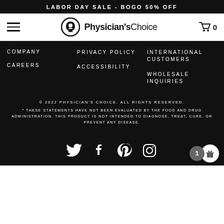LABOR DAY SALE - BOGO 50% OFF
[Figure (logo): Physician's Choice brand logo with hamburger menu and cart icon]
COMPANY
CAREERS
PRIVACY POLICY
ACCESSIBILITY
INTERNATIONAL CUSTOMERS
WHOLESALE INQUIRIES
© 2022 PHYSICIAN'S CHOICE. ALL RIGHTS RESERVED.
* THESE STATEMENTS HAVE NOT BEEN EVALUATED BY THE FOOD AND DRUG ADMINISTRATION. THIS PRODUCT IS NOT INTENDED TO DIAGNOSE, TREAT, CURE, OR PREVENT ANY DISEASE.
[Figure (illustration): Social media icons: Twitter, Facebook, Pinterest, Instagram with a numbered gift badge]